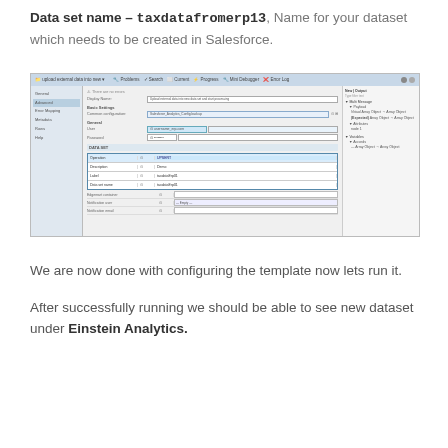Data set name – taxdatafromerp13, Name for your dataset which needs to be created in Salesforce.
[Figure (screenshot): Screenshot of a Salesforce/ERP integration configuration tool showing upload external data settings, common configuration with Salesforce Analytics Config backup, general settings with user credentials, and a data set section with fields for Operation (UPSERT), Description, Label, Data set name (all showing taxdatafromerp13-style values), along with Edgemart container, Notification user, and Notification email fields.]
We are now done with configuring the template now lets run it.
After successfully running we should be able to see new dataset under Einstein Analytics.